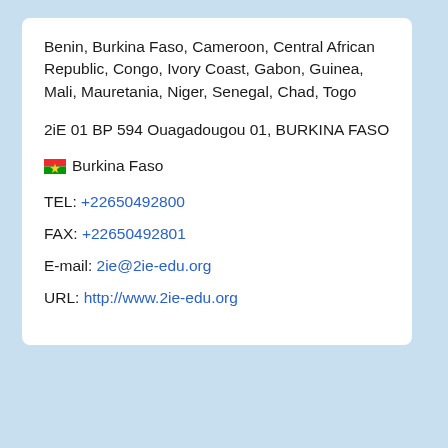Benin, Burkina Faso, Cameroon, Central African Republic, Congo, Ivory Coast, Gabon, Guinea, Mali, Mauretania, Niger, Senegal, Chad, Togo
2iE 01 BP 594 Ouagadougou 01, BURKINA FASO
🇧🇫 Burkina Faso
TEL: +22650492800
FAX: +22650492801
E-mail: 2ie@2ie-edu.org
URL: http://www.2ie-edu.org